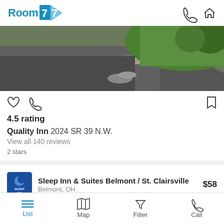Room 77
[Figure (photo): Exterior photo of hotel driveway with asphalt road, concrete curb, and green grass/shrubs]
4.5 rating
Quality Inn 2024 SR 39 N.W.
View all 140 reviews
2 stars
Sleep Inn & Suites Belmont / St. Clairsville $58
List  Map  Filter  Call